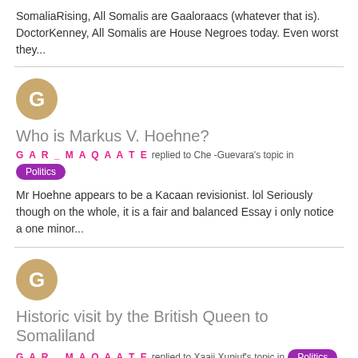SomaliaRising, All Somalis are Gaaloraacs (whatever that is). DoctorKenney, All Somalis are House Negroes today. Even worst they...
Who is Markus V. Hoehne?
GAR_MAQAATE replied to Che-Guevara's topic in Politics
Mr Hoehne appears to be a Kacaan revisionist. lol Seriously though on the whole, it is a fair and balanced Essay i only notice a one minor...
Historic visit by the British Queen to Somaliland
GAR_MAQAATE replied to Xaaji Xunjuf's topic in Politics
<cite> @Hawdian said:</cite> ^ the only reason you are shamed is because you from SOMALiYa Moqadisho where you people kill hate...